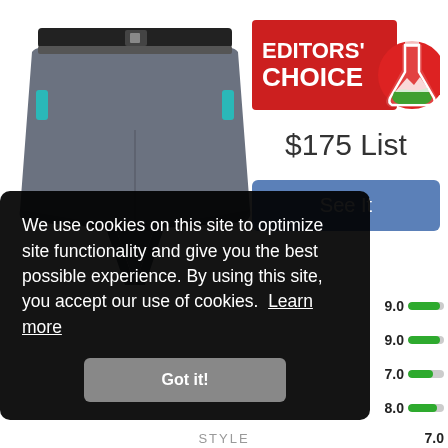[Figure (photo): Gray hiking/outdoor shorts with black belt and teal pocket details, product photo on white background]
[Figure (logo): Editors' Choice badge with red background, white text 'EDITORS' CHOICE' and flask/mountain logo]
$175 List
See It
9.0
9.0
7.0
8.0
We use cookies on this site to optimize site functionality and give you the best possible experience. By using this site, you accept our use of cookies. Learn more
Got it!
STYLE
7.0